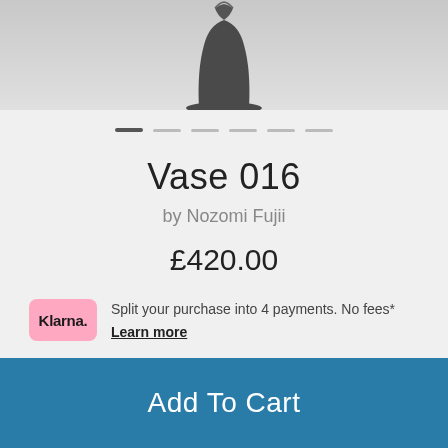[Figure (photo): Top portion of a dark grey ceramic vase against a light grey background, cropped showing only the upper part of the vase]
Vase 016
by Nozomi Fujii
£420.00
Split your purchase into 4 payments. No fees* Learn more
Add To Cart